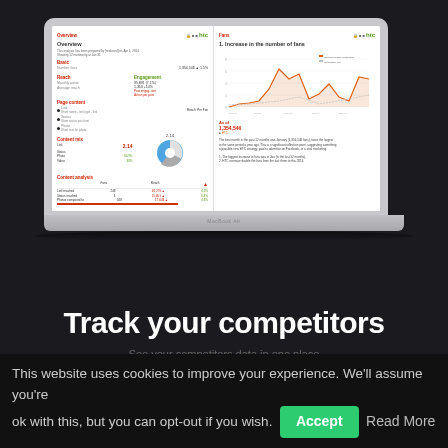[Figure (screenshot): Laptop (MacBook Air) displaying a competitor tracking analytics dashboard with HTC branding, showing two panels: left panel has summary stats, pie chart; right panel has a line chart showing increase in number of fans over time.]
Track your competitors
This website uses cookies to improve your experience. We'll assume you're ok with this, but you can opt-out if you wish.
Accept
Read More